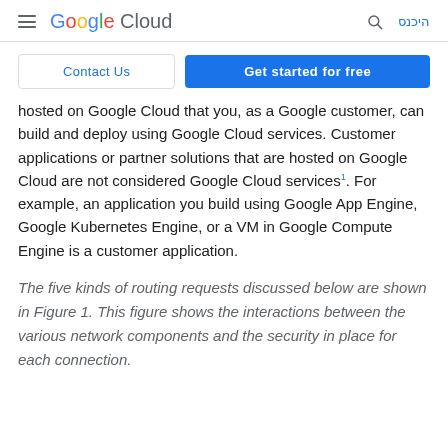Google Cloud — Search — היכנס
Contact Us | Get started for free
hosted on Google Cloud that you, as a Google customer, can build and deploy using Google Cloud services. Customer applications or partner solutions that are hosted on Google Cloud are not considered Google Cloud services¹. For example, an application you build using Google App Engine, Google Kubernetes Engine, or a VM in Google Compute Engine is a customer application.
The five kinds of routing requests discussed below are shown in Figure 1. This figure shows the interactions between the various network components and the security in place for each connection.